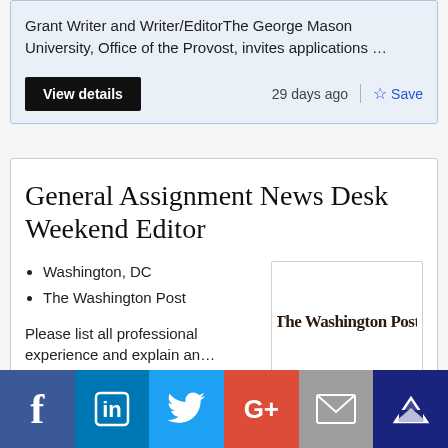Grant Writer and Writer/EditorThe George Mason University, Office of the Provost, invites applications …
29 days ago
Save
General Assignment News Desk Weekend Editor
Washington, DC
The Washington Post
Please list all professional experience and explain an…
[Figure (logo): The Washington Post logo in blackletter/gothic font]
34 days ago
Save
[Figure (infographic): Social media sharing bar with Facebook, LinkedIn, Twitter, Google+, Email, and bookmark icons]